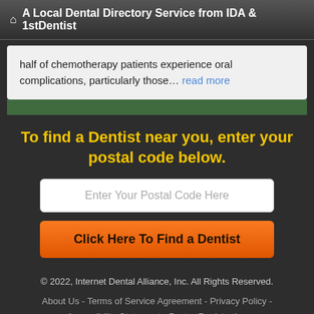A Local Dental Directory Service from IDA & 1stDentist
half of chemotherapy patients experience oral complications, particularly those… read more
To find a Dentist near you, enter your postal code below.
[Figure (other): Input field with placeholder text 'Enter Your Postal Code Here']
[Figure (other): Orange button labeled 'Click Here To Find a Dentist']
© 2022, Internet Dental Alliance, Inc. All Rights Reserved. About Us - Terms of Service Agreement - Privacy Policy - Accessibility Statement - Doctor Registration